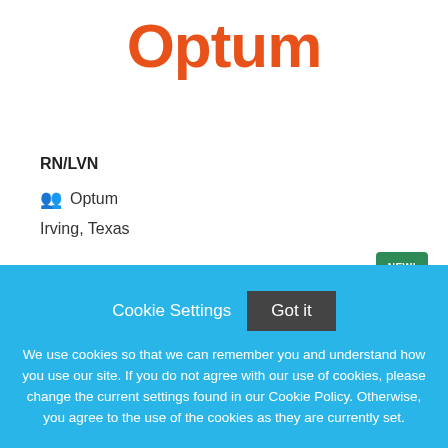[Figure (logo): Optum logo in orange bold text]
RN/LVN
Optum
Irving, Texas
Cookie Settings   Got it
We use cookies so that we can remember you and understand how you use our site. If you do not agree with our use of cookies, please change the current settings found in our Cookie Policy. Otherwise, you agree to the use of the cookies as they are currently set.